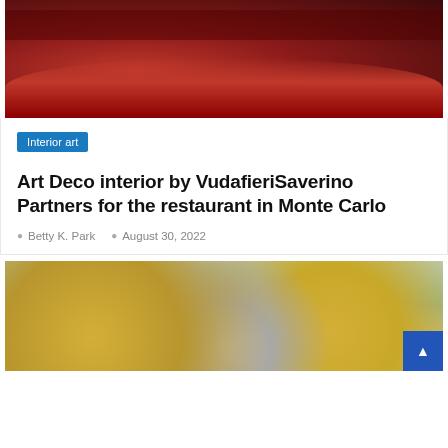[Figure (photo): Interior photo of a luxury restaurant with red velvet booth seating and tables with white tablecloths, Art Deco style]
Interior art
Art Deco interior by VudafieriSaverino Partners for the restaurant in Monte Carlo
Betty K. Park   August 30, 2022
[Figure (photo): Close-up photo of gold and silver coins, blurred background with teal/green tones]